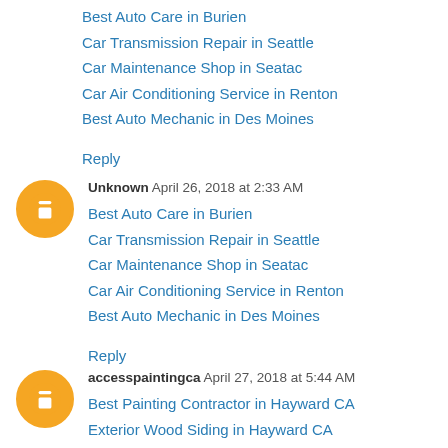Best Auto Care in Burien
Car Transmission Repair in Seattle
Car Maintenance Shop in Seatac
Car Air Conditioning Service in Renton
Best Auto Mechanic in Des Moines
Reply
Unknown  April 26, 2018 at 2:33 AM
Best Auto Care in Burien
Car Transmission Repair in Seattle
Car Maintenance Shop in Seatac
Car Air Conditioning Service in Renton
Best Auto Mechanic in Des Moines
Reply
accesspaintingca  April 27, 2018 at 5:44 AM
Best Painting Contractor in Hayward CA
Exterior Wood Siding in Hayward CA